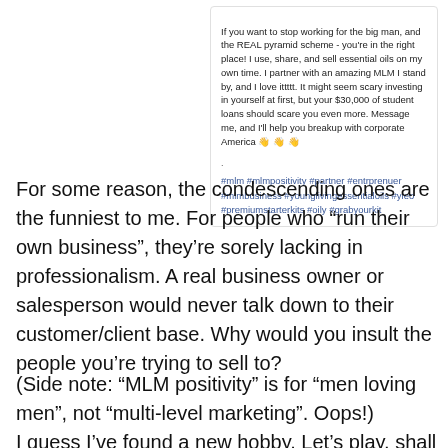[Figure (screenshot): Screenshot of a social media post promoting MLM/essential oils business with hashtags]
For some reason, the condescending ones are the funniest to me. For people who “run their own business”, they’re sorely lacking in professionalism. A real business owner or salesperson would never talk down to their customer/client base. Why would you insult the people you’re trying to sell to?
(Side note: “MLM positivity” is for “men loving men”, not “multi-level marketing”. Oops!)
I guess I’ve found a new hobby. Let’s play, shall we?